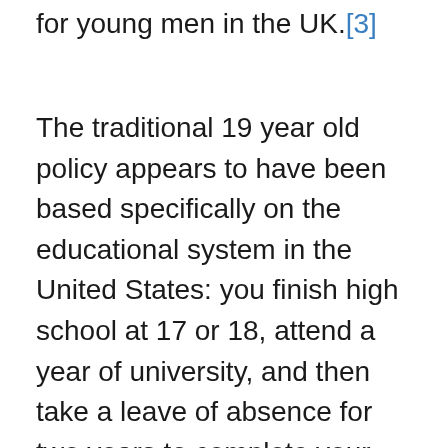for young men in the UK.[3]
The traditional 19 year old policy appears to have been based specifically on the educational system in the United States: you finish high school at 17 or 18, attend a year of university, and then take a leave of absence for two years to complete your mission, returning to university after the mission to finish your studies. The two year deferral for the mission was, of course, a given at universities in Utah and the Mormon Corridor more broadly. Even outside of Mormon country, American universities proved very amenable to allowing such a leave of absence for this purpose. Catering to the needs of your customers has always been a hallmark of American culture. The prospect of a mission did not even function as a bar (in most cases) for considering studies at America's most elite colleges